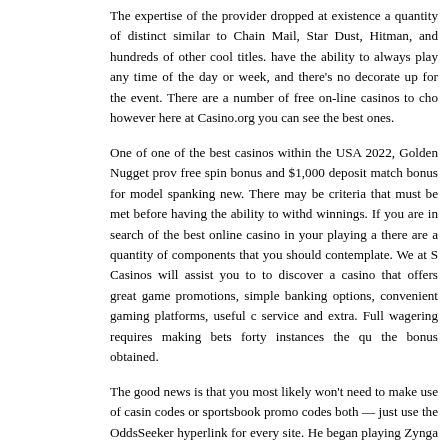The expertise of the provider dropped at existence a quantity of distinct similar to Chain Mail, Star Dust, Hitman, and hundreds of other cool titles. have the ability to always play any time of the day or week, and there's no decorate up for the event. There are a number of free on-line casinos to cho however here at Casino.org you can see the best ones.
One of one of the best casinos within the USA 2022, Golden Nugget prov free spin bonus and $1,000 deposit match bonus for model spanking new. There may be criteria that must be met before having the ability to withd winnings. If you are in search of the best online casino in your playing a there are a quantity of components that you should contemplate. We at S Casinos will assist you to to discover a casino that offers great game promotions, simple banking options, convenient gaming platforms, useful c service and extra. Full wagering requires making bets forty instances the qu the bonus obtained.
The good news is that you most likely won't need to make use of casin codes or sportsbook promo codes both — just use the OddsSeeker hyperlink for every site. He began playing Zynga Poker, a slot machine re final year. But he craved the joy that came with betting real cash.
These casinos simply require you to play using virtual currency. Pay delivered within the type of real cash, prizes, or gift cards . You can eithe casino welcome offer, and play slots with your free cash, OR you can advantages of provides like Golden Nugget's 200 free spins for 88 Megaways.
GambleAware offer gamers and their households recommendation and st